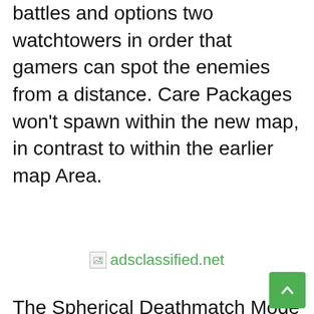battles and options two watchtowers in order that gamers can spot the enemies from a distance. Care Packages won't spawn within the new map, in contrast to within the earlier map Area.
[Figure (other): Broken image placeholder with text 'adsclassified.net' in green]
The Spherical Deathmatch Mode additionally will get a brand new fight levelling system within the replace. Within the new system, gamers can earn fight expertise factors primarily based on the result of the Workforce/Spherical Deathmatch together with win, loss, kill,